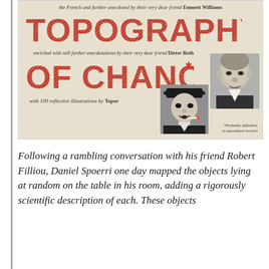[Figure (illustration): Book cover for 'Topography of Chance' with large red stylized text reading TOPOGRAPHY and OF CHANCE*, subtitle lines in italic mentioning Emmett Williams and Dieter Roth, '100 reflective illustrations by Topor', two black and white portrait photos (one of a bald man, one of a man with a hat and cigarette), all on a cream/beige background]
Following a rambling conversation with his friend Robert Filliou, Daniel Spoerri one day mapped the objects lying at random on the table in his room, adding a rigorously scientific description of each. These objects